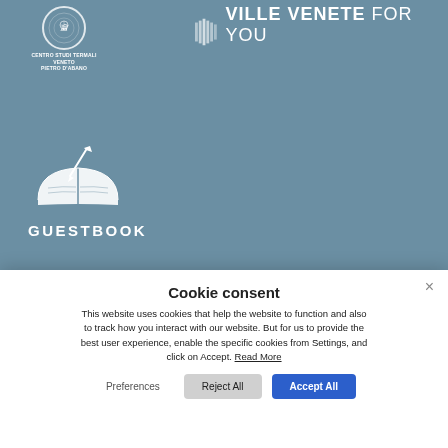[Figure (logo): Blue background with Centro Studi Termali Veneto Pietro d'Abano circular logo on left, and 'VILLE VENETE FOR YOU' logo text on right with vertical bar decorations]
[Figure (illustration): White icon of an open book with a pen/quill, above the word GUESTBOOK in white bold uppercase letters, on blue background]
AbanoRitz Spa Wellfeeling Resort Italy - Abano Terme, Padova - Via Monteortone, 19 Tel. +39 049 8633100 - Fax +39 049 667549 - Direct
Cookie consent
This website uses cookies that help the website to function and also to track how you interact with our website. But for us to provide the best user experience, enable the specific cookies from Settings, and click on Accept. Read More
Preferences
Reject All
Accept All